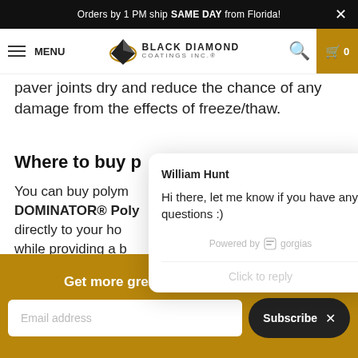Orders by 1 PM ship SAME DAY from Florida!
[Figure (logo): Black Diamond Coatings Inc. logo with navigation menu, search icon, and cart button showing 0 items]
paver joints dry and reduce the chance of any damage from the effects of freeze/thaw.
Where to buy p
You can buy polym DOMINATOR® Poly directly to your ho while providing a b asking for the "DC
[Figure (screenshot): Chat popup from William Hunt saying: Hi there, let me know if you have any questions :) Powered by gorgias. Click to reply.]
Get more great tips and inspiration!
Email address
Subscribe